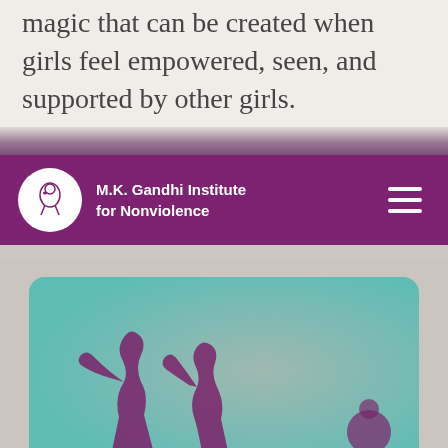magic that can be created when girls feel empowered, seen, and supported by other girls.
[Figure (logo): M.K. Gandhi Institute for Nonviolence navigation bar with circular logo on purple background and hamburger menu icon]
[Figure (illustration): Teal/turquoise background image showing silhouette figures of girls dancing or moving, with purple/maroon silhouettes]